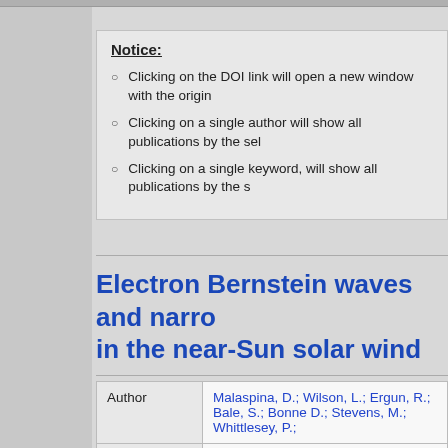Notice:
Clicking on the DOI link will open a new window with the origin
Clicking on a single author will show all publications by the sel
Clicking on a single keyword, will show all publications by the s
Electron Bernstein waves and narro in the near-Sun solar wind
|  |  |
| --- | --- |
| Author | Malaspina, D.; Wilson, L.; Ergun, R.; Bale, S.; Bonne D.; Stevens, M.; Whittlesey, P.; |
| Keywords | Solar wind; plasmas; instabilities; waves; Parker Dat |
|  | Context. Recent studies of the solar wind sunward o |